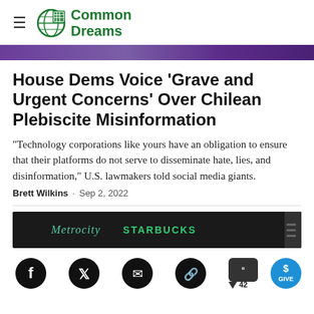[Figure (logo): Common Dreams logo with globe/grid icon and green text]
[Figure (photo): Purple banner strip at top of article]
House Dems Voice 'Grave and Urgent Concerns' Over Chilean Plebiscite Misinformation
"Technology corporations like yours have an obligation to ensure that their platforms do not serve to disseminate hate, lies, and disinformation," U.S. lawmakers told social media giants.
Brett Wilkins · Sep 2, 2022
[Figure (photo): Street-level photo showing Metrocity and Starbucks storefront signs on dark background]
[Figure (infographic): Social sharing bar with Facebook, Twitter, email, link, comment (42), and Give button icons]